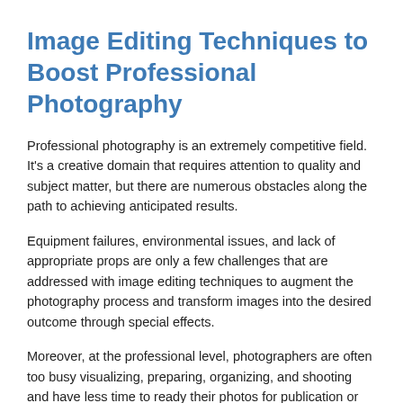Image Editing Techniques to Boost Professional Photography
Professional photography is an extremely competitive field. It's a creative domain that requires attention to quality and subject matter, but there are numerous obstacles along the path to achieving anticipated results.
Equipment failures, environmental issues, and lack of appropriate props are only a few challenges that are addressed with image editing techniques to augment the photography process and transform images into the desired outcome through special effects.
Moreover, at the professional level, photographers are often too busy visualizing, preparing, organizing, and shooting and have less time to ready their photos for publication or display.